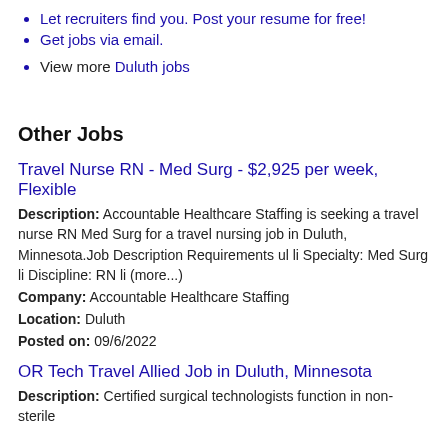Let recruiters find you. Post your resume for free!
Get jobs via email.
View more Duluth jobs
Other Jobs
Travel Nurse RN - Med Surg - $2,925 per week, Flexible
Description: Accountable Healthcare Staffing is seeking a travel nurse RN Med Surg for a travel nursing job in Duluth, Minnesota.Job Description Requirements ul li Specialty: Med Surg li Discipline: RN li (more...)
Company: Accountable Healthcare Staffing
Location: Duluth
Posted on: 09/6/2022
OR Tech Travel Allied Job in Duluth, Minnesota
Description: Certified surgical technologists function in non-sterile